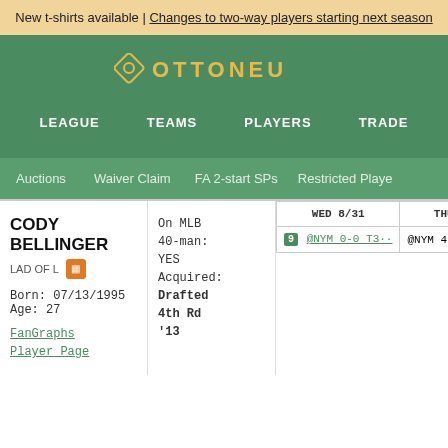New t-shirts available | Changes to two-way players starting next season
[Figure (logo): Ottoneu logo with diamond icon and text OTTONEU]
LEAGUE   TEAMS   PLAYERS   TRADE
Auctions   Waiver Claim   FA 2-start SPs   Restricted Playe
CODY BELLINGER
LAD OF L
Born: 07/13/1995
Age: 27
FanGraphs Player Page
On MLB 40-man: YES
Acquired: Drafted 4th Rd '13
| WED 8/31 | THU 9/01 | FRI |
| --- | --- | --- |
| 9 @NYM 0-0 T3·· | @NYM 4:10 PM EDT | SDP 1 |